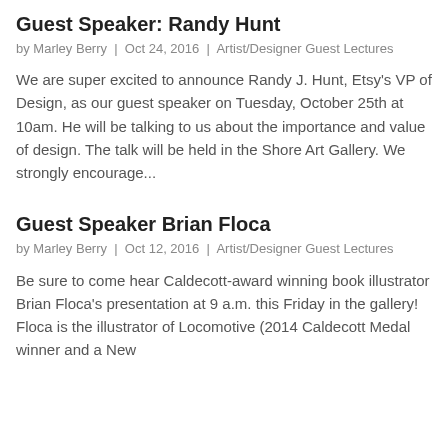Guest Speaker: Randy Hunt
by Marley Berry | Oct 24, 2016 | Artist/Designer Guest Lectures
We are super excited to announce Randy J. Hunt, Etsy's VP of Design, as our guest speaker on Tuesday, October 25th at 10am. He will be talking to us about the importance and value of design. The talk will be held in the Shore Art Gallery. We strongly encourage...
Guest Speaker Brian Floca
by Marley Berry | Oct 12, 2016 | Artist/Designer Guest Lectures
Be sure to come hear Caldecott-award winning book illustrator Brian Floca's presentation at 9 a.m. this Friday in the gallery! Floca is the illustrator of Locomotive (2014 Caldecott Medal winner and a New